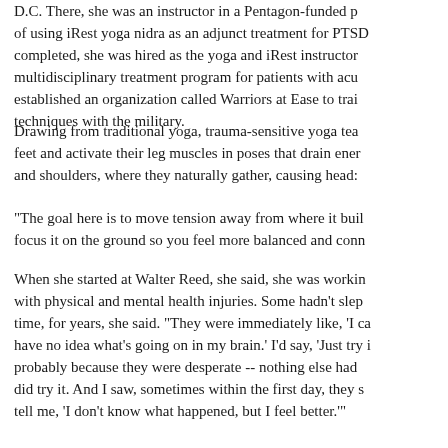D.C. There, she was an instructor in a Pentagon-funded p... of using iRest yoga nidra as an adjunct treatment for PTSD... completed, she was hired as the yoga and iRest instructor... multidisciplinary treatment program for patients with acu... established an organization called Warriors at Ease to trai... techniques with the military.
Drawing from traditional yoga, trauma-sensitive yoga tea... feet and activate their leg muscles in poses that drain ener... and shoulders, where they naturally gather, causing head...
"The goal here is to move tension away from where it buil... focus it on the ground so you feel more balanced and conn...
When she started at Walter Reed, she said, she was workin... with physical and mental health injuries. Some hadn't slep... time, for years, she said. "They were immediately like, 'I ca... have no idea what's going on in my brain.' I'd say, 'Just try i... probably because they were desperate -- nothing else had... did try it. And I saw, sometimes within the first day, they s... tell me, 'I don't know what happened, but I feel better.""